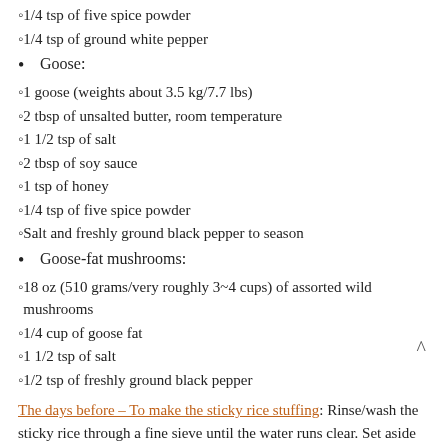1/4 tsp of five spice powder
1/4 tsp of ground white pepper
Goose:
1 goose (weights about 3.5 kg/7.7 lbs)
2 tbsp of unsalted butter, room temperature
1 1/2 tsp of salt
2 tbsp of soy sauce
1 tsp of honey
1/4 tsp of five spice powder
Salt and freshly ground black pepper to season
Goose-fat mushrooms:
18 oz (510 grams/very roughly 3~4 cups) of assorted wild mushrooms
1/4 cup of goose fat
1 1/2 tsp of salt
1/2 tsp of freshly ground black pepper
The days before – To make the sticky rice stuffing: Rinse/wash the sticky rice through a fine sieve until the water runs clear. Set aside on a kitchen towel